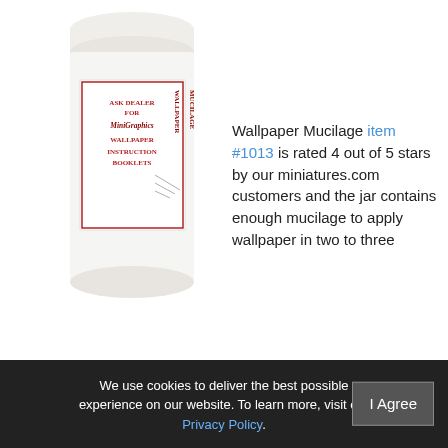[Figure (photo): White cylindrical jar of MiniGraphics Wallpaper Mucilage with a white lid and red labeled text reading ASK DEALER FOR MiniGraphics WALLPAPER INSTRUCTION BOOKLETS and WALLPAPER MUCILAGE]
Wallpaper Mucilage item #1013 is rated 4 out of 5 stars by our miniatures.com customers and the jar contains enough mucilage to apply wallpaper in two to three rooms.
[Figure (photo): Cream/beige cylindrical jar of Grandmother Stover's Glue with a white lid and a blue bear logo]
Grandmother Stover's Glue item #172 is rated 4.5 out of 5 stars by
We use cookies to deliver the best possible experience on our website. To learn more, visit our Privacy Policy.